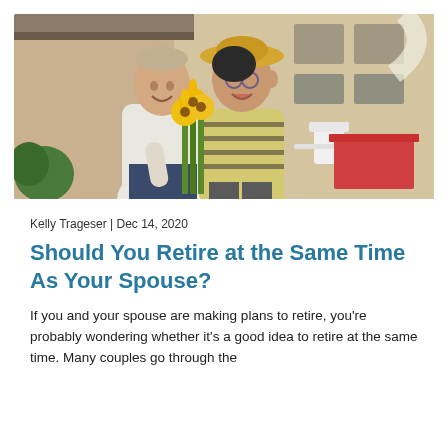[Figure (photo): An older couple smiling outdoors. An elderly man laughs and hands yellow flowers to an elderly woman wearing a yellow hat, glasses, and a striped top. They are standing near a house porch with outdoor furniture in the background.]
Kelly Trageser | Dec 14, 2020
Should You Retire at the Same Time As Your Spouse?
If you and your spouse are making plans to retire, you're probably wondering whether it's a good idea to retire at the same time. Many couples go through the